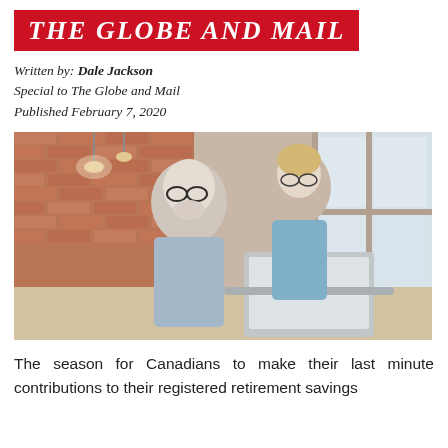THE GLOBE AND MAIL
Written by: Dale Jackson
Special to The Globe and Mail
Published February 7, 2020
[Figure (photo): An elderly man with grey hair and glasses sits at a table working on a laptop, while a middle-aged blonde woman with glasses stands beside him looking at the screen. They are in a kitchen/dining area with exposed brick walls and pendant lights.]
The season for Canadians to make their last minute contributions to their registered retirement savings